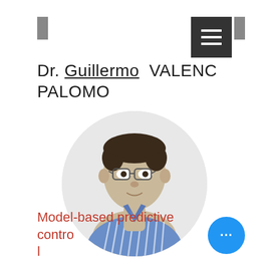Dr. Guillermo VALENCI PALOMO
[Figure (photo): Circular profile photo of Dr. Guillermo Valencia Palomo, a young man with dark hair and glasses wearing a blue striped shirt, against a light gray circular background]
Model-based predictive control